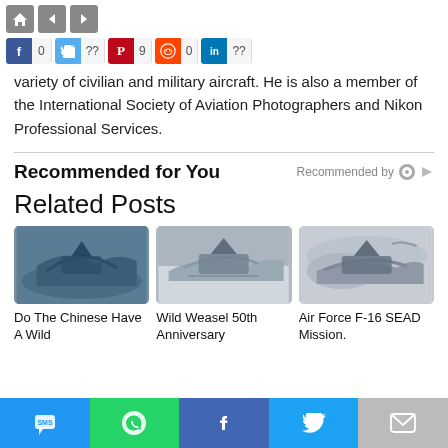[Figure (screenshot): Navigation bar with home icon and left/right arrows, and social share bar with Facebook (0), Twitter (??), Pinterest (9), Reddit (0), LinkedIn (??)]
variety of civilian and military aircraft. He is also a member of the International Society of Aviation Photographers and Nikon Professional Services.
Recommended for You
Related Posts
[Figure (photo): Chinese fighter jet from below against blue sky]
Do The Chinese Have A Wild
[Figure (photo): F-16 fighter jet in flight, side view]
Wild Weasel 50th Anniversary
[Figure (photo): F-16 fighter jet in flight over clouds]
Air Force F-16 SEAD Mission.
[Figure (screenshot): Bottom share bar with SMS, WhatsApp, Facebook, Twitter, Mail buttons]